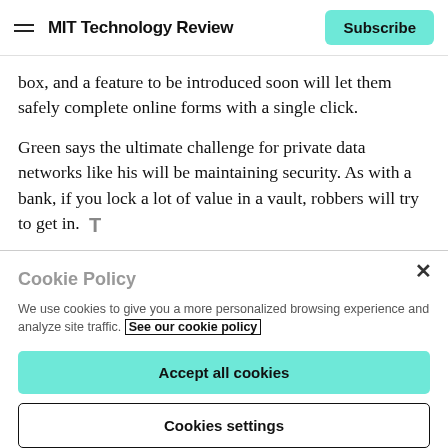MIT Technology Review | Subscribe
box, and a feature to be introduced soon will let them safely complete online forms with a single click.
Green says the ultimate challenge for private data networks like his will be maintaining security. As with a bank, if you lock a lot of value in a vault, robbers will try to get in.
Cookie Policy
We use cookies to give you a more personalized browsing experience and analyze site traffic. See our cookie policy
Accept all cookies
Cookies settings